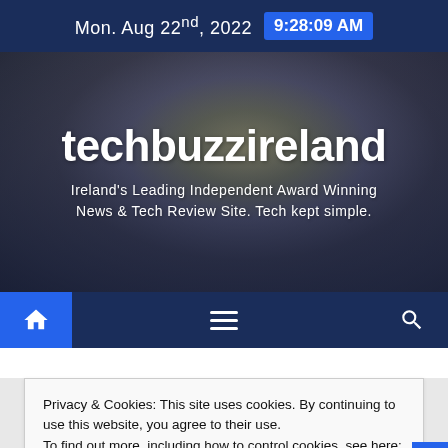Mon. Aug 22nd, 2022  9:28:09 AM
[Figure (photo): Hero banner with blurred photo of a man, dark overlay, showing site name and tagline]
techbuzzireland
Ireland's Leading Independent Award Winning News & Tech Review Site. Tech kept simple.
[Figure (infographic): Navigation bar with home icon (highlighted blue), hamburger menu icon, and search icon on dark navy background]
Privacy & Cookies: This site uses cookies. By continuing to use this website, you agree to their use.
To find out more, including how to control cookies, see here: Cookie Policy
Close and accept
#Otterbox